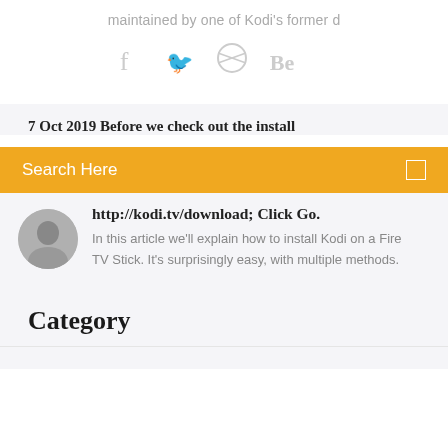maintained by one of Kodi's former d
[Figure (illustration): Social media icons: Facebook (f), Twitter bird, Dribbble ball, Behance (Be)]
7 Oct 2019 Before we check out the install
Search Here
http://kodi.tv/download; Click Go.
In this article we'll explain how to install Kodi on a Fire TV Stick. It's surprisingly easy, with multiple methods.
Category